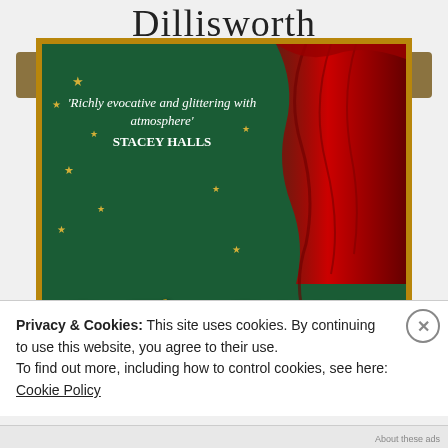Dillisworth
[Figure (illustration): Book cover with dark green background, gold frame border, red theatrical curtain on the right, scattered gold stars, italic quote text reading 'Richly evocative and glittering with atmosphere' STACEY HALLS, and large gold decorative letters at the bottom partially visible.]
Privacy & Cookies: This site uses cookies. By continuing to use this website, you agree to their use.
To find out more, including how to control cookies, see here: Cookie Policy
Close and accept